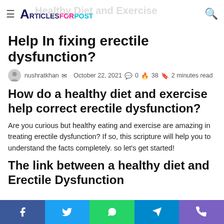ArticlesForPost – Healthy Diet and Exercise
Help In fixing erectile dysfunction?
nushratkhan · October 22, 2021 · 0 · 38 · 2 minutes read
How do a healthy diet and exercise help correct erectile dysfunction?
Are you curious but healthy eating and exercise are amazing in treating erectile dysfunction? If so, this scripture will help you to understand the facts completely. so let's get started!
The link between a healthy diet and Erectile Dysfunction
Facebook Twitter WhatsApp Telegram Phone